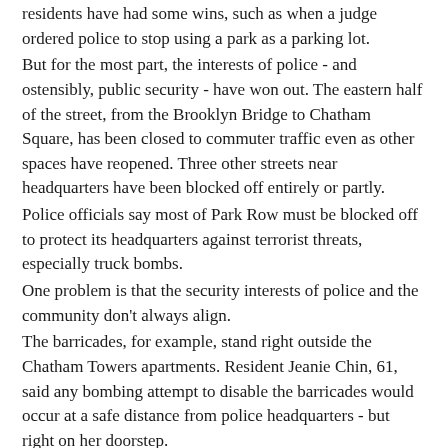residents have had some wins, such as when a judge ordered police to stop using a park as a parking lot.
But for the most part, the interests of police - and ostensibly, public security - have won out. The eastern half of the street, from the Brooklyn Bridge to Chatham Square, has been closed to commuter traffic even as other spaces have reopened. Three other streets near headquarters have been blocked off entirely or partly.
Police officials say most of Park Row must be blocked off to protect its headquarters against terrorist threats, especially truck bombs.
One problem is that the security interests of police and the community don't always align.
The barricades, for example, stand right outside the Chatham Towers apartments. Resident Jeanie Chin, 61, said any bombing attempt to disable the barricades would occur at a safe distance from police headquarters - but right on her doorstep.
"They seem to be completely disregarding the safety of people who are living here and actually providing a human shield," said Chin, who works at a PR firm.